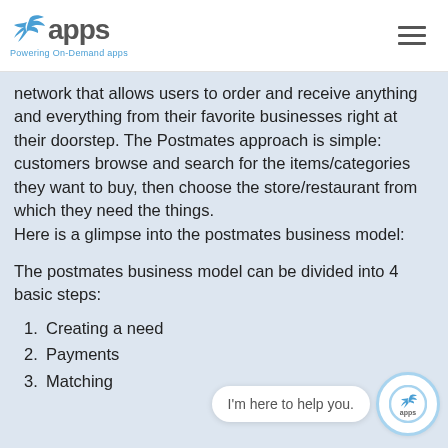apps — Powering On-Demand apps
network that allows users to order and receive anything and everything from their favorite businesses right at their doorstep. The Postmates approach is simple: customers browse and search for the items/categories they want to buy, then choose the store/restaurant from which they need the things.
Here is a glimpse into the postmates business model:
The postmates business model can be divided into 4 basic steps:
1. Creating a need
2. Payments
3. Matching